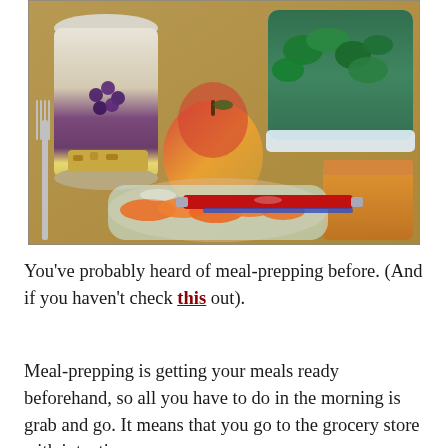[Figure (photo): A kitchen counter with meal-prep items: a jar with yogurt, grapes and granola, an apple, a blue container with salad greens, a bag of baby carrots, a red-handled fork, and another container with yellow/orange items.]
You’ve probably heard of meal-prepping before. (And if you haven’t check this out).
Meal-prepping is getting your meals ready beforehand, so all you have to do in the morning is grab and go. It means that you go to the grocery store with intentions